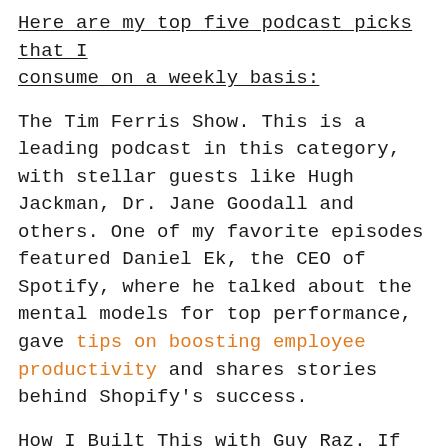Here are my top five podcast picks that I consume on a weekly basis:
The Tim Ferris Show. This is a leading podcast in this category, with stellar guests like Hugh Jackman, Dr. Jane Goodall and others. One of my favorite episodes featured Daniel Ek, the CEO of Spotify, where he talked about the mental models for top performance, gave tips on boosting employee productivity and shares stories behind Shopify's success.
How I Built This with Guy Raz. If you like storytelling podcasts, this one can be a great choice for you. The host invites the leaders of both small businesses and big corporations, who share their stories about successes and